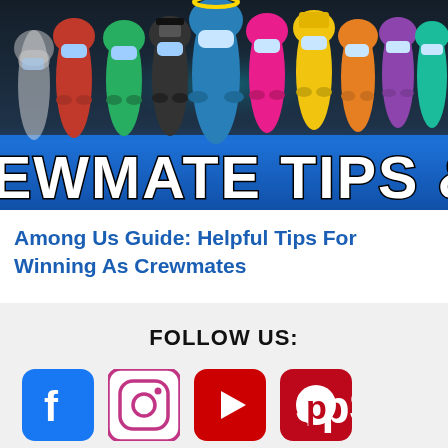[Figure (illustration): Among Us game banner showing colorful crewmate characters on a dark background, with a blue banner bar below reading 'EWMATE TIPS & GU' (partially visible, full text is 'CREWMATE TIPS & GUIDE')]
Among Us Guide: Helpful Tips For Winning As Crewmates
FOLLOW US:
[Figure (infographic): Four social media icons in a row: Facebook (blue rounded square), Instagram (white/purple rounded square), YouTube (red rounded square), Pinterest (dark red rounded square)]
ARTICLE TOPICS